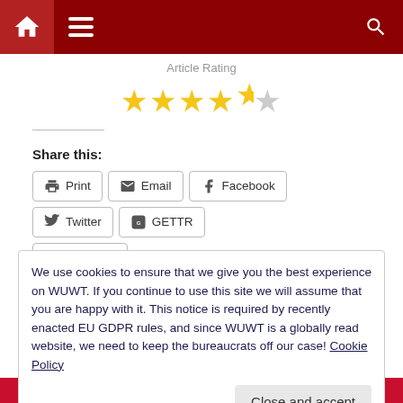[Figure (screenshot): Dark red navigation bar with home icon, hamburger menu icon, and search icon]
Article Rating
[Figure (other): 4.5 out of 5 stars rating — four full yellow stars and one half star]
Share this:
Print  Email  Facebook  Twitter  GETTR  Telegram
Like this:
We use cookies to ensure that we give you the best experience on WUWT. If you continue to use this site we will assume that you are happy with it. This notice is required by recently enacted EU GDPR rules, and since WUWT is a globally read website, we need to keep the bureaucrats off our case! Cookie Policy
Close and accept